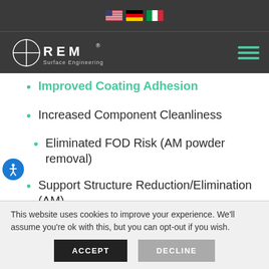REM Surface Engineering navigation header with language flags (US, Germany, Italy) and hamburger menu
Improved Coating Adhesion
Increased Component Cleanliness
Eliminated FOD Risk (AM powder removal)
Support Structure Reduction/Elimination (AM)
Improved Aesthetic Appearance
This website uses cookies to improve your experience. We'll assume you're ok with this, but you can opt-out if you wish.